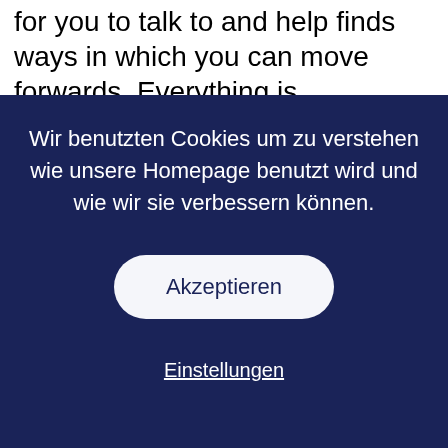Their professional helpline workers are there for you to talk to and help finds ways in which you can move forwards. Everything is confidential from their helpline to webchats.
Wir benutzten Cookies um zu verstehen wie unsere Homepage benutzt wird und wie wir sie verbessern können.
Akzeptieren
Einstellungen